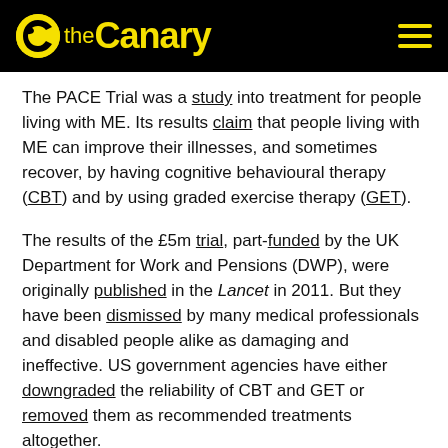the Canary
The PACE Trial was a study into treatment for people living with ME. Its results claim that people living with ME can improve their illnesses, and sometimes recover, by having cognitive behavioural therapy (CBT) and by using graded exercise therapy (GET).
The results of the £5m trial, part-funded by the UK Department for Work and Pensions (DWP), were originally published in the Lancet in 2011. But they have been dismissed by many medical professionals and disabled people alike as damaging and ineffective. US government agencies have either downgraded the reliability of CBT and GET or removed them as recommended treatments altogether.
Related articles